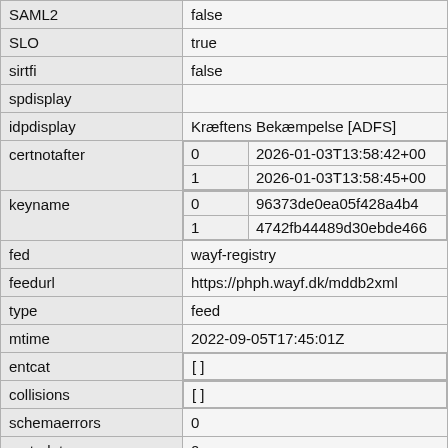| Key | Value |
| --- | --- |
| SAML2 | false |
| SLO | true |
| sirtfi | false |
| spdisplay |  |
| idpdisplay | Kræftens Bekæmpelse [ADFS] |
| certnotafter | 0 | 2026-01-03T13:58:42+00
1 | 2026-01-03T13:58:45+00 |
| keyname | 0 | 96373de0ea05f428a4b4...
1 | 4742fb44489d30ebde466... |
| fed | wayf-registry |
| feedurl | https://phph.wayf.dk/mddb2xml |
| type | feed |
| mtime | 2022-09-05T17:45:01Z |
| entcat | [ ] |
| collisions | [ ] |
| schemaerrors | 0 |
| metadataerrors | 0 |